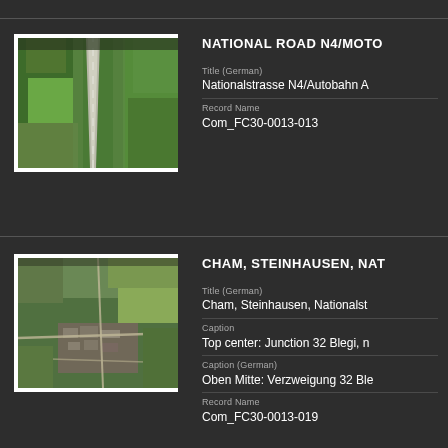[Figure (photo): Aerial photograph of a straight highway/motorway cutting through green agricultural fields and forests]
NATIONAL ROAD N4/MOTO...
Title (German): Nationalstrasse N4/Autobahn A...
Record Name: Com_FC30-0013-013
[Figure (photo): Aerial photograph of Cham, Steinhausen showing urban and suburban areas with roads and green fields]
CHAM, STEINHAUSEN, NAT...
Title (German): Cham, Steinhausen, Nationalst...
Caption: Top center: Junction 32 Blegi, n...
Caption (German): Oben Mitte: Verzweigung 32 Ble...
Record Name: Com_FC30-0013-019